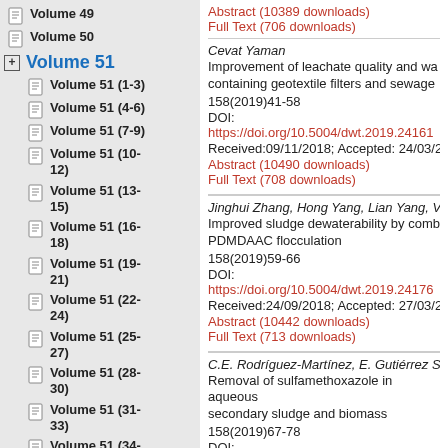Volume 49
Volume 50
Volume 51
Volume 51 (1-3)
Volume 51 (4-6)
Volume 51 (7-9)
Volume 51 (10-12)
Volume 51 (13-15)
Volume 51 (16-18)
Volume 51 (19-21)
Volume 51 (22-24)
Volume 51 (25-27)
Volume 51 (28-30)
Volume 51 (31-33)
Volume 51 (34-36)
Abstract (10389 downloads)
Full Text (706 downloads)
Cevat Yaman
Improvement of leachate quality and wa... containing geotextile filters and sewage...
158(2019)41-58
DOI: https://doi.org/10.5004/dwt.2019.24161
Received:09/11/2018; Accepted: 24/03/2...
Abstract (10490 downloads)
Full Text (708 downloads)
Jinghui Zhang, Hong Yang, Lian Yang, V...
Improved sludge dewaterability by comb... PDMDAAC flocculation
158(2019)59-66
DOI: https://doi.org/10.5004/dwt.2019.24176
Received:24/09/2018; Accepted: 27/03/2...
Abstract (10442 downloads)
Full Text (713 downloads)
C.E. Rodríguez-Martínez, E. Gutiérrez S...
Removal of sulfamethoxazole in aqueous... secondary sludge and biomass
158(2019)67-78
DOI: https://doi.org/10.5004/dwt.2019.24179
Received:26/10/2018; Accepted: 27/03/2...